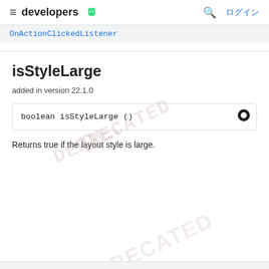≡ developers [android logo] 🔍 ログイン
OnActionClickedListener
isStyleLarge
added in version 22.1.0
boolean isStyleLarge ()
Returns true if the layout style is large.